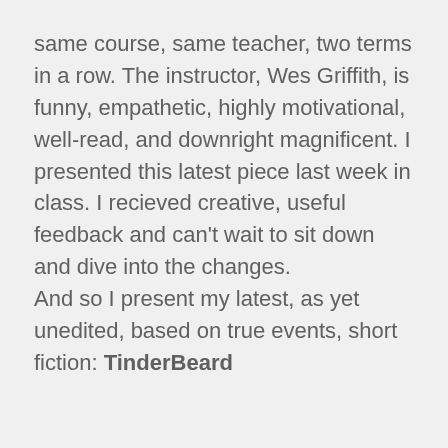same course, same teacher, two terms in a row. The instructor, Wes Griffith, is funny, empathetic, highly motivational, well-read, and downright magnificent. I presented this latest piece last week in class. I recieved creative, useful feedback and can't wait to sit down and dive into the changes.
And so I present my latest, as yet unedited, based on true events, short fiction: TinderBeard